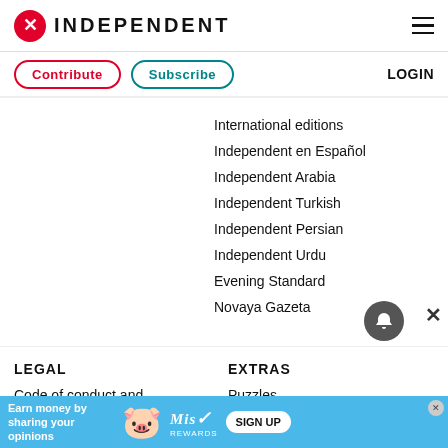INDEPENDENT
Contribute
Subscribe
LOGIN
International editions
Independent en Español
Independent Arabia
Independent Turkish
Independent Persian
Independent Urdu
Evening Standard
Novaya Gazeta
LEGAL
EXTRAS
Code of conduct and
Puzzles
Earn money by sharing your opinions